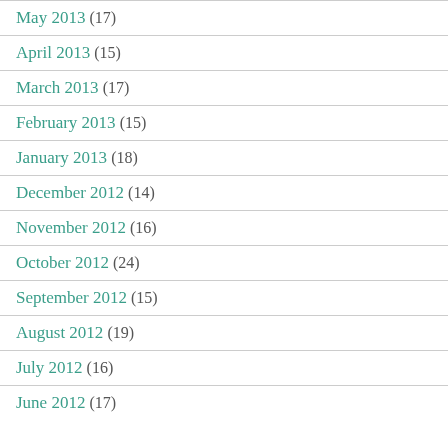May 2013 (17)
April 2013 (15)
March 2013 (17)
February 2013 (15)
January 2013 (18)
December 2012 (14)
November 2012 (16)
October 2012 (24)
September 2012 (15)
August 2012 (19)
July 2012 (16)
June 2012 (17)